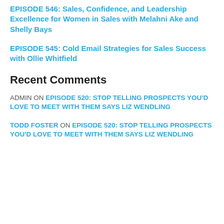EPISODE 546: Sales, Confidence, and Leadership Excellence for Women in Sales with Melahni Ake and Shelly Bays
EPISODE 545: Cold Email Strategies for Sales Success with Ollie Whitfield
Recent Comments
ADMIN ON EPISODE 520: STOP TELLING PROSPECTS YOU'D LOVE TO MEET WITH THEM SAYS LIZ WENDLING
TODD FOSTER ON EPISODE 520: STOP TELLING PROSPECTS YOU'D LOVE TO MEET WITH THEM SAYS LIZ WENDLING